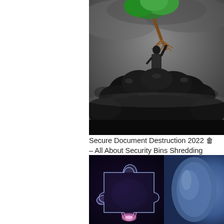[Figure (illustration): A businessman standing on a pile of black trash bags, holding up a tree by its roots against a stormy grey sky background.]
Secure Document Destruction 2022 🗑 – All About Security Bins Shredding
[Figure (illustration): A glowing puzzle piece with light blue and pink neon outlines on a dark background, with a blue cylindrical shape on the right.]